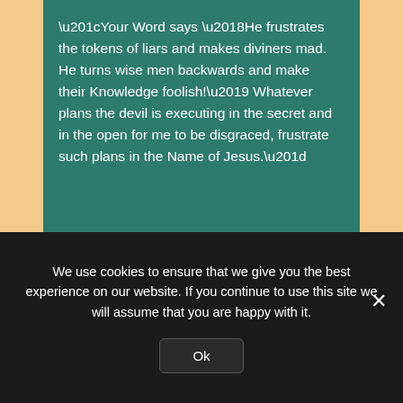“Your Word says ‘He frustrates the tokens of liars and makes diviners mad. He turns wise men backwards and make their Knowledge foolish!’ Whatever plans the devil is executing in the secret and in the open for me to be disgraced, frustrate such plans in the Name of Jesus.”
We use cookies to ensure that we give you the best experience on our website. If you continue to use this site we will assume that you are happy with it.